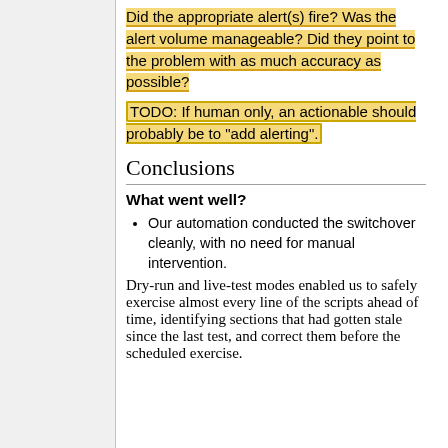Did the appropriate alert(s) fire? Was the alert volume manageable? Did they point to the problem with as much accuracy as possible?
TODO: If human only, an actionable should probably be to "add alerting".
Conclusions
What went well?
Our automation conducted the switchover cleanly, with no need for manual intervention.
Dry-run and live-test modes enabled us to safely exercise almost every line of the scripts ahead of time, identifying sections that had gotten stale since the last test, and correct them before the scheduled exercise.